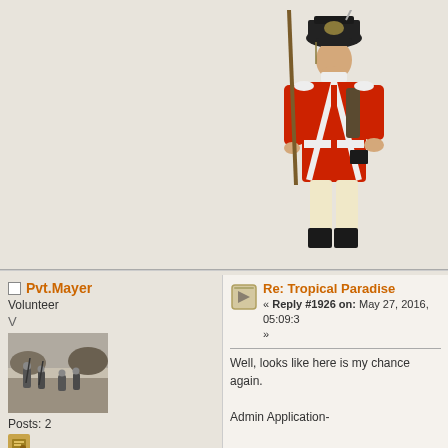[Figure (illustration): Illustration of a British Napoleonic-era soldier in red coat with black shako hat, holding a musket with bayonet, standing at attention. Partially cropped at bottom.]
Pvt.Mayer
Volunteer
V
[Figure (photo): Black and white historical photo of soldiers in the field, appearing to be in combat or training positions.]
Posts: 2
Side: Confederacy
Re: Tropical Paradise
« Reply #1926 on: May 27, 2016, 05:09:3
»
Well, looks like here is my chance again.
Admin Application-
In-game Name: Pvt_Mayer
Why you should be an administrator?: I a... many times I have seen the rules being b...